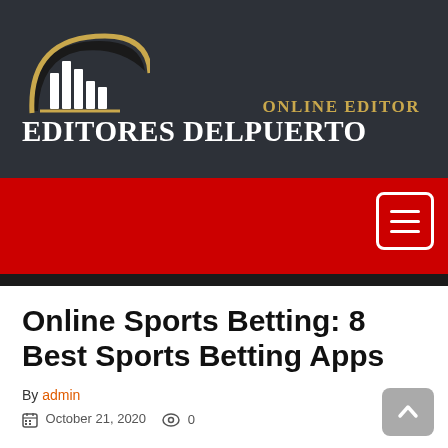[Figure (logo): Editores Delpuerto logo with city skyline icon and text 'ONLINE EDITOR' above 'EDITORES DELPUERTO' on dark background]
[Figure (screenshot): Red navigation bar with hamburger menu button (three white lines in white-bordered box) on dark background]
Online Sports Betting: 8 Best Sports Betting Apps
By admin
October 21, 2020   0